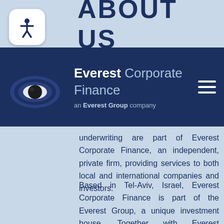ABOUT US
[Figure (logo): Everest Corporate Finance logo with dark navy background, eye-shaped icon, company name 'Everest Corporate Finance' and subtitle 'an Everest Group company']
underwriting are part of Everest Corporate Finance, an independent, private firm, providing services to both local and international companies and investors.
Based in Tel-Aviv, Israel, Everest Corporate Finance is part of the Everest Group, a unique investment house. Together with Everest Underwriting and the Research and Analysis department, Everest Investment Banking specializes in providing a full access to the Israeli capital market. Among other services we provide buy-side advisory services to